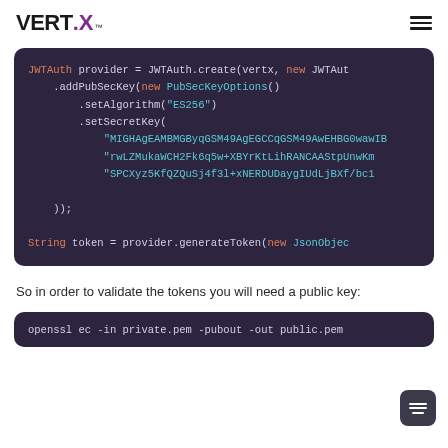VERT.X™
[Figure (screenshot): Code block showing JWTAuth Java code with syntax highlighting on dark purple background. Code: JWTAuth provider = JWTAuth.create(vertx, new JWTAut... .addPubSecKey(new PubSecKeyOptions() .setAlgorithm("ES256") .setSecretKey( "MIGHAgEAMBMGByqGSM49AgEGCCqGSM49AwEHBG0wawIB... "rwLZMukaWCH2Fk6q5w+XBYrKtLihRANCAAStpUnwKm... "SPCXyz5KfQZQuSj4f3l+xNERDUDaygIUdLjBXf/bc1 )); String token = provider.generateToken(new JsonObjec...]
So in order to validate the tokens you will need a public key:
[Figure (screenshot): Code block showing terminal command: openssl ec -in private.pem -pubout -out public.pem]